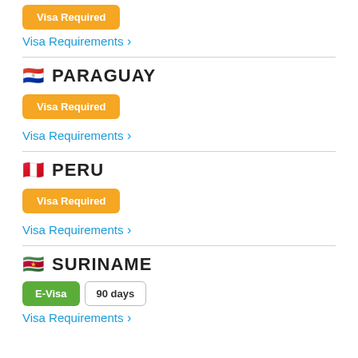Visa Required
Visa Requirements ›
🇵🇾 PARAGUAY
Visa Required
Visa Requirements ›
🇵🇪 PERU
Visa Required
Visa Requirements ›
🇸🇷 SURINAME
E-Visa   90 days
Visa Requirements ›